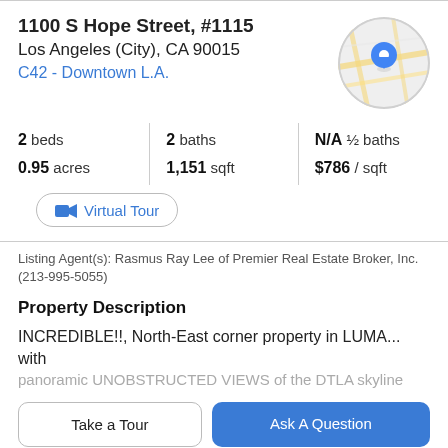1100 S Hope Street, #1115
Los Angeles (City), CA 90015
C42 - Downtown L.A.
[Figure (map): Circular map thumbnail showing a blue location pin marker on a street map of the area.]
2 beds   2 baths   N/A ½ baths   0.95 acres   1,151 sqft   $786 / sqft
Virtual Tour
Listing Agent(s): Rasmus Ray Lee of Premier Real Estate Broker, Inc. (213-995-5055)
Property Description
INCREDIBLE!!, North-East corner property in LUMA... with
panoramic UNOBSTRUCTED VIEWS of the DTLA skyline
Take a Tour
Ask A Question
and large corner balcony. The property has a util